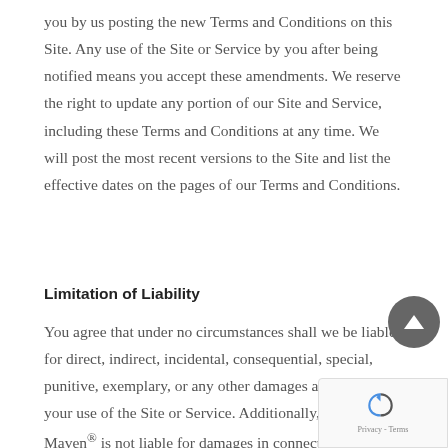you by us posting the new Terms and Conditions on this Site. Any use of the Site or Service by you after being notified means you accept these amendments. We reserve the right to update any portion of our Site and Service, including these Terms and Conditions at any time. We will post the most recent versions to the Site and list the effective dates on the pages of our Terms and Conditions.
Limitation of Liability
You agree that under no circumstances shall we be liable for direct, indirect, incidental, consequential, special, punitive, exemplary, or any other damages arising out your use of the Site or Service. Additionally, The Balance Maven® is not liable for damages in connection with failure of performance, error, omission, denial of ser